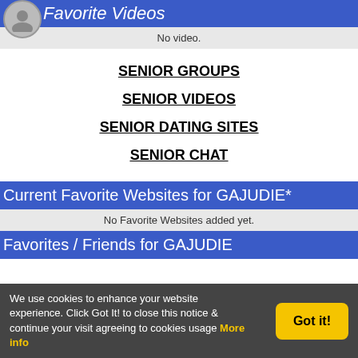Favorite Videos
No video.
SENIOR GROUPS
SENIOR VIDEOS
SENIOR DATING SITES
SENIOR CHAT
Current Favorite Websites for GAJUDIE*
No Favorite Websites added yet.
Favorites / Friends for GAJUDIE
We use cookies to enhance your website experience. Click Got It! to close this notice & continue your visit agreeing to cookies usage More info